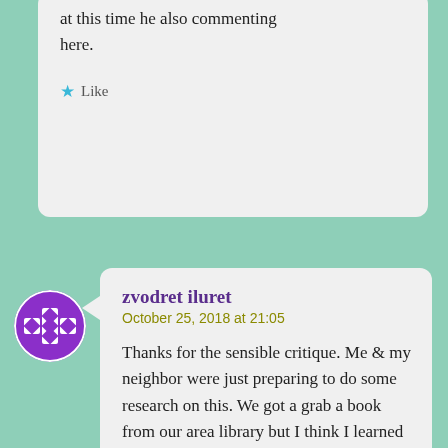at this time he also commenting here.
Like
[Figure (illustration): Purple and white decorative avatar icon with circular border]
zvodret iluret
October 25, 2018 at 21:05
Thanks for the sensible critique. Me & my neighbor were just preparing to do some research on this. We got a grab a book from our area library but I think I learned more clear from this post. I am very glad to see such fantastic information being shared freely out there.